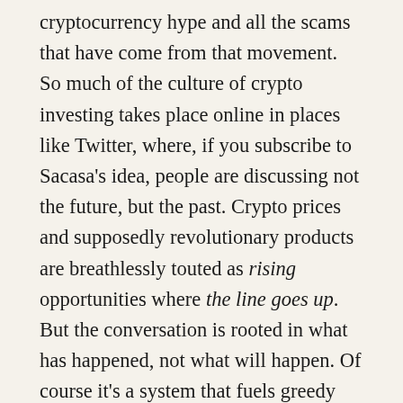cryptocurrency hype and all the scams that have come from that movement. So much of the culture of crypto investing takes place online in places like Twitter, where, if you subscribe to Sacasa's idea, people are discussing not the future, but the past. Crypto prices and supposedly revolutionary products are breathlessly touted as rising opportunities where the line goes up. But the conversation is rooted in what has happened, not what will happen. Of course it's a system that fuels greedy and predatory behavior. People take advantage of past performance knowing full well that it isn't indicative of future results. It's a system that is naturally dangerous for unsavvy investors who are responding to prices in the market that feel